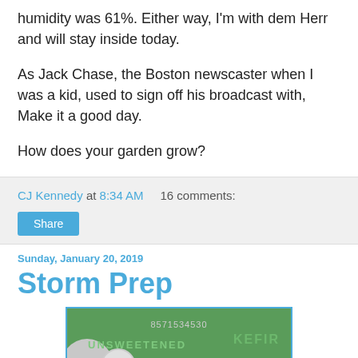humidity was 61%. Either way, I'm with dem Herr and will stay inside today.
As Jack Chase, the Boston newscaster when I was a kid, used to sign off his broadcast with, Make it a good day.
How does your garden grow?
CJ Kennedy at 8:34 AM   16 comments:
Share
Sunday, January 20, 2019
Storm Prep
[Figure (photo): Close-up photo of green containers/bottles, one labeled UNSWEETENED and another labeled KEFIR, with a white bottle cap in the foreground, on a green background.]